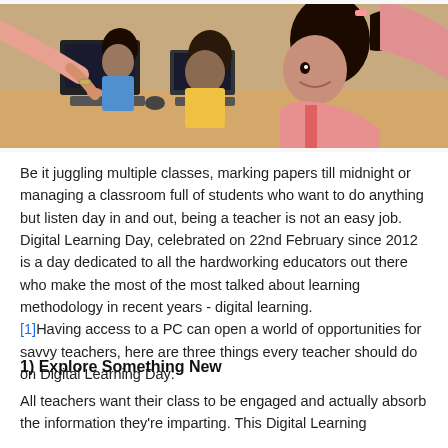[Figure (photo): Children sitting at computers in a classroom with a teacher leaning over to help them. A girl with a ponytail is smiling and using a keyboard, and other students are visible at computers in the background.]
Be it juggling multiple classes, marking papers till midnight or managing a classroom full of students who want to do anything but listen day in and out, being a teacher is not an easy job. Digital Learning Day, celebrated on 22nd February since 2012 is a day dedicated to all the hardworking educators out there who make the most of the most talked about learning methodology in recent years - digital learning. [1]Having access to a PC can open a world of opportunities for savvy teachers, here are three things every teacher should do on Digital Learning Day:
1) Explore Something New
All teachers want their class to be engaged and actually absorb the information they're imparting. This Digital Learning Day it's a great time to share the resources that...